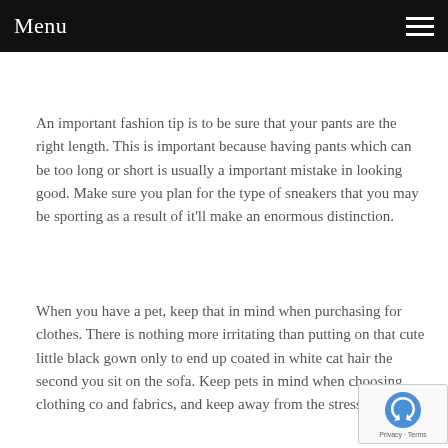Menu
An important fashion tip is to be sure that your pants are the right length. This is important because having pants which can be too long or short is usually a important mistake in looking good. Make sure you plan for the type of sneakers that you may be sporting as a result of it'll make an enormous distinction.
When you have a pet, keep that in mind when purchasing for clothes. There is nothing more irritating than putting on that cute little black gown only to end up coated in white cat hair the second you sit on the sofa. Keep pets in mind when choosing clothing co and fabrics, and keep away from the stress.